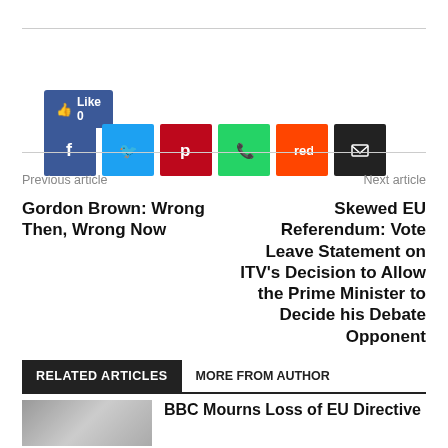[Figure (infographic): Social share buttons: Like 0 button (Facebook blue), and six square social media icons: Facebook (blue f), Twitter (blue bird), Pinterest (red P), WhatsApp (green phone), Reddit (orange alien), Email (black envelope)]
Previous article
Next article
Gordon Brown: Wrong Then, Wrong Now
Skewed EU Referendum: Vote Leave Statement on ITV's Decision to Allow the Prime Minister to Decide his Debate Opponent
RELATED ARTICLES
MORE FROM AUTHOR
BBC Mourns Loss of EU Directive